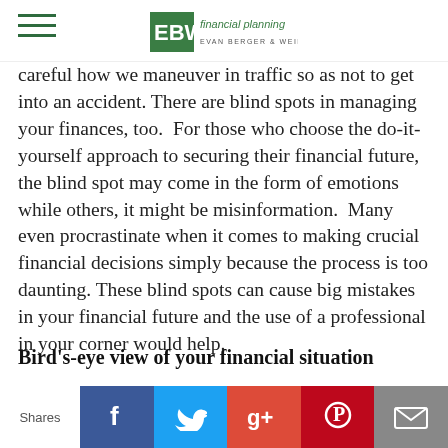EBW financial planning — EVAN BERGER & WEINER
careful how we maneuver in traffic so as not to get into an accident. There are blind spots in managing your finances, too.  For those who choose the do-it-yourself approach to securing their financial future, the blind spot may come in the form of emotions while others, it might be misinformation.  Many even procrastinate when it comes to making crucial financial decisions simply because the process is too daunting. These blind spots can cause big mistakes in your financial future and the use of a professional in your corner would help.
Bird's-eye view of your financial situation
If you want a 360-degree view of your financial
Shares — Facebook, Twitter, Google+, Pinterest, Email